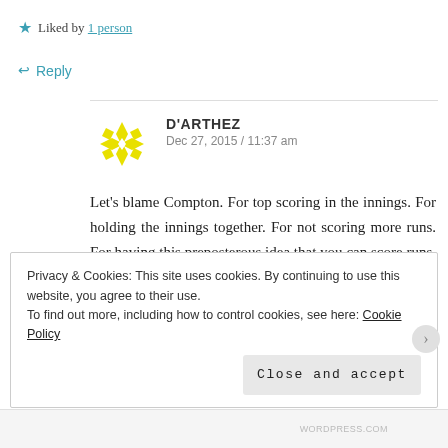★ Liked by 1 person
↩ Reply
D'ARTHEZ
Dec 27, 2015 / 11:37 am
Let's blame Compton. For top scoring in the innings. For holding the innings together. For not scoring more runs. For having this preposterous idea that you can score runs, if you avoid being dismissed.
Privacy & Cookies: This site uses cookies. By continuing to use this website, you agree to their use.
To find out more, including how to control cookies, see here: Cookie Policy
Close and accept